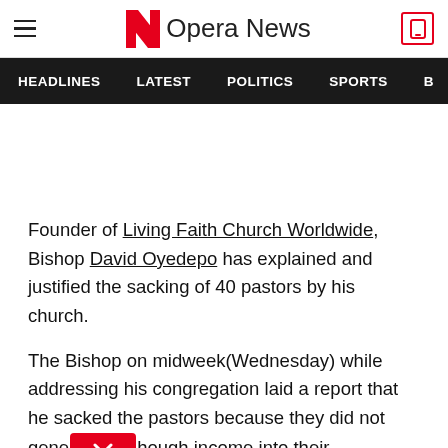Opera News
HEADLINES  LATEST  POLITICS  SPORTS  B
Founder of Living Faith Church Worldwide, Bishop David Oyedepo has explained and justified the sacking of 40 pastors by his church.
The Bishop on midweek(Wednesday) while addressing his congregation laid a report that he sacked the pastors because they did not generate enough income into their